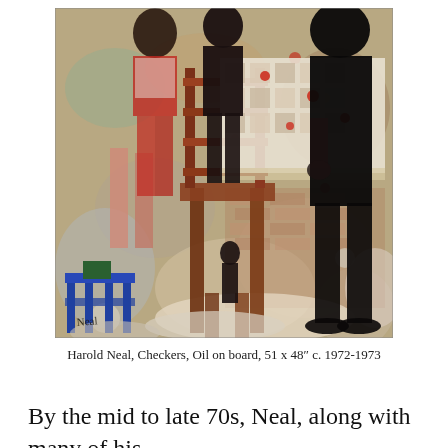[Figure (photo): A painting depicting figures around a table with a checkerboard pattern, rendered in dark tones of deep brown, black, blue, and muted reds. Several silhouetted figures stand around a wooden chair and table. A blue chair is visible in the lower left. The background is textured with mottled colors suggesting a worn interior space. Artist signature 'Neal' visible in lower left.]
Harold Neal, Checkers, Oil on board, 51 x 48" c. 1972-1973
By the mid to late 70s, Neal, along with many of his